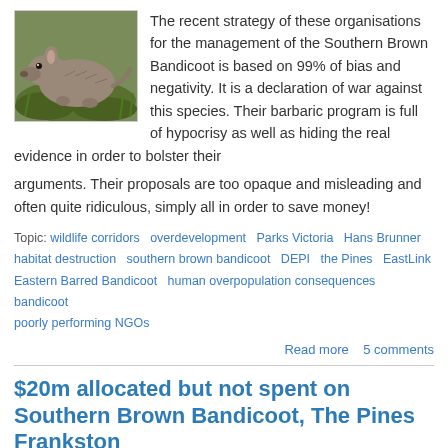[Figure (photo): Photo of a Southern Brown Bandicoot, a small grey-brown mammal on green mossy ground]
The recent strategy of these organisations for the management of the Southern Brown Bandicoot is based on 99% of bias and negativity. It is a declaration of war against this species. Their barbaric program is full of hypocrisy as well as hiding the real evidence in order to bolster their arguments. Their proposals are too opaque and misleading and often quite ridiculous, simply all in order to save money!
Topic: wildlife corridors  overdevelopment  Parks Victoria  Hans Brunner  habitat destruction  southern brown bandicoot  DEPI  the Pines  EastLink  Eastern Barred Bandicoot  human overpopulation consequences  bandicoot  poorly performing NGOs
Read more  5 comments
$20m allocated but not spent on Southern Brown Bandicoot, The Pines Frankston
Mon, 2013-06-24 00:32 by admin
[Figure (photo): Photo of a bandicoot partially visible among green grass/leaves]
Bandicoots are another casualty of Eastlink, the tollway that has divided our beautiful